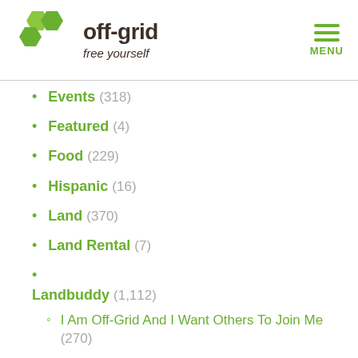off-grid free yourself
Events (318)
Featured (4)
Food (229)
Hispanic (16)
Land (370)
Land Rental (7)
Landbuddy (1,112)
I Am Off-Grid And I Want Others To Join Me (270)
I Want To Go Off-Grid (738)
I Want To Help People Who Are Off-Grid (123)